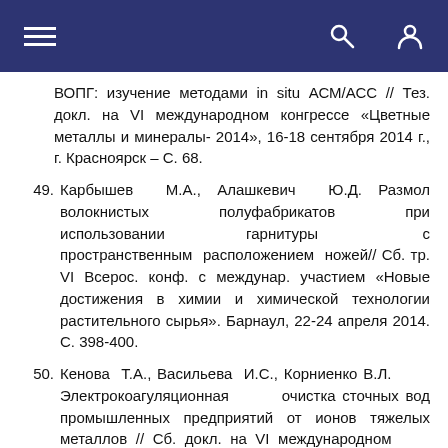ВОПГ: изучение методами in situ АСМ/АСС // Тез. докл. на VI международном конгрессе «Цветные металлы и минералы- 2014», 16-18 сентября 2014 г., г. Красноярск – С. 68.
49. Карбышев М.А., Алашкевич Ю.Д. Размол волокнистых полуфабрикатов при использовании гарнитуры с пространственным расположением ножей// Сб. тр. VI Всерос. конф. с междунар. участием «Новые достижения в химии и химической технологии растительного сырья». Барнаул, 22-24 апреля 2014. С. 398-400.
50. Кенова Т.А., Васильева И.С., Корниенко В.Л. Электрокоагуляционная очистка сточных вод промышленных предприятий от ионов тяжелых металлов // Сб. докл. на VI международном конгрессе «Цветные